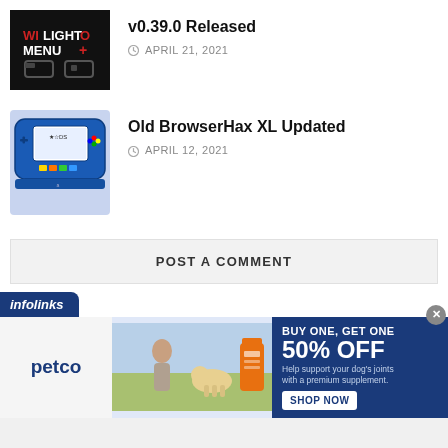[Figure (screenshot): WiLight Menu logo on dark background]
v0.39.0 Released
APRIL 21, 2021
[Figure (photo): Nintendo 2DS handheld console in blue]
Old BrowserHax XL Updated
APRIL 12, 2021
POST A COMMENT
[Figure (screenshot): Infolinks advertisement banner for Petco: BUY ONE, GET ONE 50% OFF - Help support your dog's joints with a premium supplement. SHOP NOW]